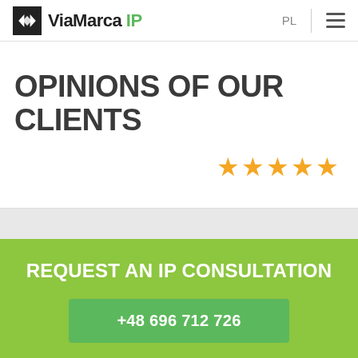ViaMarca IP  PL
OPINIONS OF OUR CLIENTS
[Figure (other): Five gold stars rating]
REQUEST AN IP CONSULTATION
+48 696 712 726